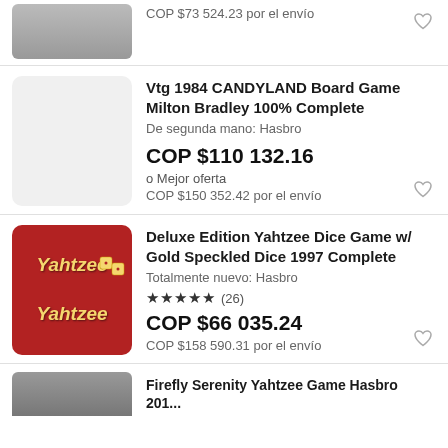[Figure (photo): Partial top of a product image, cropped at top of page]
COP $73 524.23 por el envío
[Figure (photo): Gray placeholder thumbnail for Candyland board game]
Vtg 1984 CANDYLAND Board Game Milton Bradley 100% Complete
De segunda mano: Hasbro
COP $110 132.16
o Mejor oferta
COP $150 352.42 por el envío
[Figure (photo): Red Yahtzee Deluxe Edition box with gold speckled dice]
Deluxe Edition Yahtzee Dice Game w/ Gold Speckled Dice 1997 Complete
Totalmente nuevo: Hasbro
★★★★★ (26)
COP $66 035.24
COP $158 590.31 por el envío
[Figure (photo): Partial bottom image — Firefly Serenity Yahtzee game, cropped]
Firefly Serenity Yahtzee Game Hasbro 201...